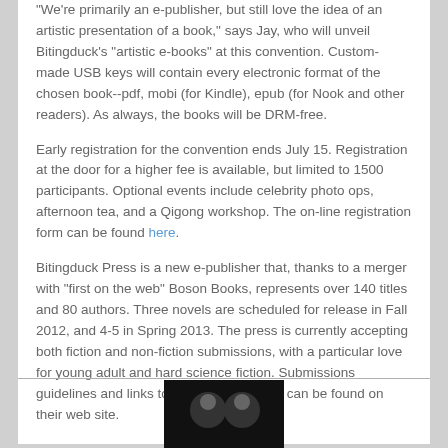'We're primarily an e-publisher, but still love the idea of an artistic presentation of a book,' says Jay, who will unveil Bitingduck's "artistic e-books" at this convention. Custom-made USB keys will contain every electronic format of the chosen book--pdf, mobi (for Kindle), epub (for Nook and other readers). As always, the books will be DRM-free.
Early registration for the convention ends July 15. Registration at the door for a higher fee is available, but limited to 1500 participants. Optional events include celebrity photo ops, afternoon tea, and a Qigong workshop. The on-line registration form can be found here.
Bitingduck Press is a new e-publisher that, thanks to a merger with "first on the web" Boson Books, represents over 140 titles and 80 authors. Three novels are scheduled for release in Fall 2012, and 4-5 in Spring 2013. The press is currently accepting both fiction and non-fiction submissions, with a particular love for young adult and hard science fiction. Submissions guidelines and links to all available books can be found on their web site.
[Figure (photo): Small black image/thumbnail at the bottom of the page]